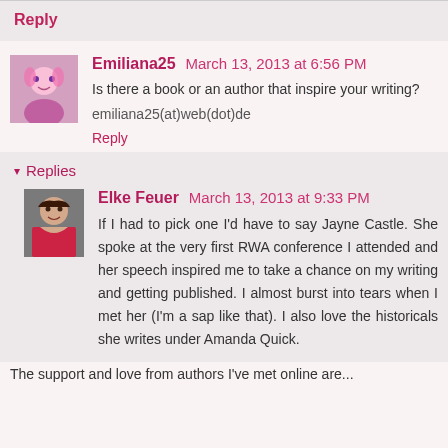Reply
Emiliana25  March 13, 2013 at 6:56 PM
Is there a book or an author that inspire your writing?
emiliana25(at)web(dot)de
Reply
▾ Replies
Elke Feuer  March 13, 2013 at 9:33 PM
If I had to pick one I'd have to say Jayne Castle. She spoke at the very first RWA conference I attended and her speech inspired me to take a chance on my writing and getting published. I almost burst into tears when I met her (I'm a sap like that). I also love the historicals she writes under Amanda Quick.
The support and love from authors I've met online are...